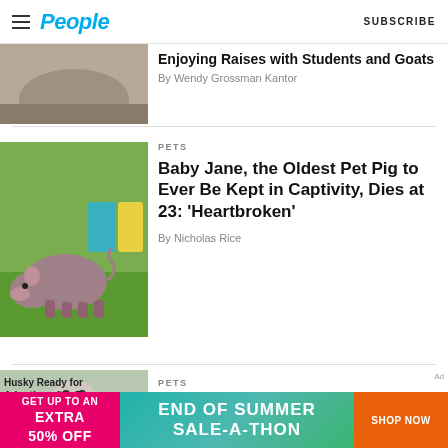People | SUBSCRIBE
Enjoying Raises with Students and Goats
By Wendy Grossman Kantor
PETS
Baby Jane, the Oldest Pet Pig to Ever Be Kept in Captivity, Dies at 23: ‘Heartbroken’
By Nicholas Rice
PETS
Hera the Husky Is Ready to
[Figure (photo): Husky Ready for Adoption after Burn]
END OF SUMMER SALE-A-THON | GET UP TO AN EXTRA 50% OFF | SHOP NOW